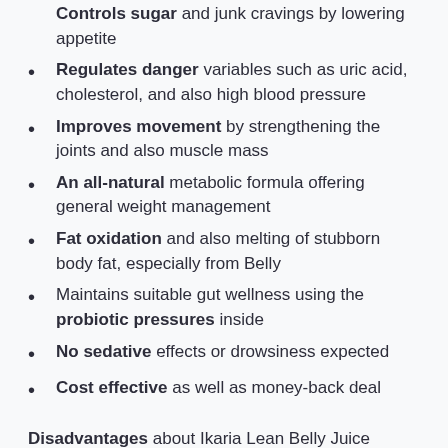Controls sugar and junk cravings by lowering appetite
Regulates danger variables such as uric acid, cholesterol, and also high blood pressure
Improves movement by strengthening the joints and also muscle mass
An all-natural metabolic formula offering general weight management
Fat oxidation and also melting of stubborn body fat, especially from Belly
Maintains suitable gut wellness using the probiotic pressures inside
No sedative effects or drowsiness expected
Cost effective as well as money-back deal
Disadvantages about Ikaria Lean Belly Juice